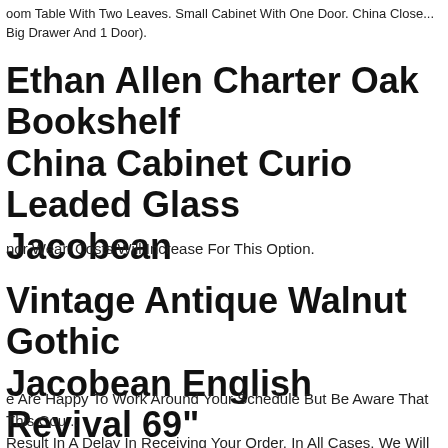oom Table With Two Leaves. Small Cabinet With One Door. China Close... Big Drawer And 1 Door).
Ethan Allen Charter Oak Bookshelf China Cabinet Curio Leaded Glass Jacobean
nor Wear. Costs Will Increase For This Option.
Vintage Antique Walnut Gothic Jacobean English Revival 69" Sideboard Buffet
e Are Happy To Work Around Your Schedule But Be Aware That This Cou... Result In A Delay In Receiving Your Order. In All Cases, We Will Do Everything We Can To Get Your Order To You As Soon As Possible.